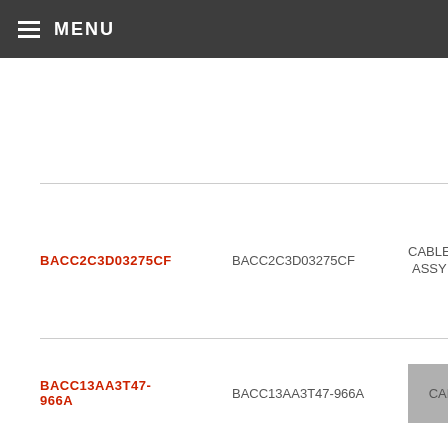MENU
BACC2C3D03275CF
BACC2C3D03275CF
CABLE ASSY
BACC13AA3T47-966A
BACC13AA3T47-966A
CABLE